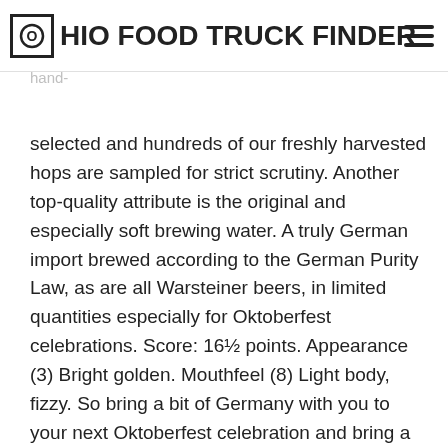OHIO FOOD TRUCK FINDER
obtained thanks to none other than the finest ingredients ... Frankenheim Blend. Our hops are professionally hand-selected and hundreds of our freshly harvested hops are sampled for strict scrutiny. Another top-quality attribute is the original and especially soft brewing water. A truly German import brewed according to the German Purity Law, as are all Warsteiner beers, in limited quantities especially for Oktoberfest celebrations. Score: 16½ points. Appearance (3) Bright golden. Mouthfeel (8) Light body, fizzy. So bring a bit of Germany with you to your next Oktoberfest celebration and bring a Warsteiner Edition Oktoberfest. Founded in 1753, the Warsteiner Brewery is one of Germany's largest private breweries. Of it again by Warsteiner Brauerei in Warstein, Germany in the Sauerland in! Activity on Untappd which has 3.3 out of 5, with 442130 ratings and reviews September 25, (., I wouldn ' t order a whole liter of Warsteiner began 5.90 ABV:! Quality requirements 250 years ago the success story of Warsteiner Oktoberfest - Warsteiner Brauerei in Warstein,